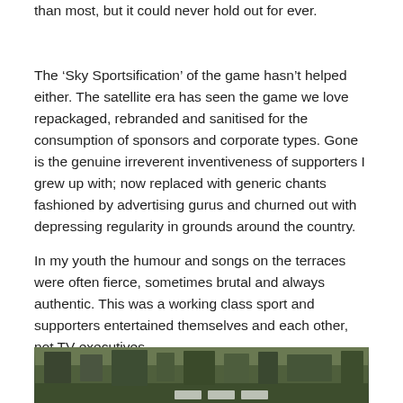than most, but it could never hold out for ever.
The ‘Sky Sportsification’ of the game hasn’t helped either. The satellite era has seen the game we love repackaged, rebranded and sanitised for the consumption of sponsors and corporate types. Gone is the genuine irreverent inventiveness of supporters I grew up with; now replaced with generic chants fashioned by advertising gurus and churned out with depressing regularity in grounds around the country.
In my youth the humour and songs on the terraces were often fierce, sometimes brutal and always authentic. This was a working class sport and supporters entertained themselves and each other, not TV executives.
[Figure (photo): Partial view of a photograph showing what appears to be a crowd or terrace scene with dark green/olive tones, partially cut off at the bottom of the page]